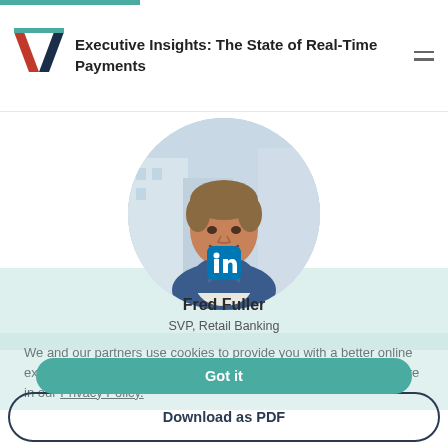Executive Insights: The State of Real-Time Payments
[Figure (photo): Circular cropped professional headshot of Fred Fuller, a smiling middle-aged man in a blue blazer, with a blurred city building background.]
Fred Fuller
SVP, Retail Banking
We and our partners use cookies to provide you with a better online experience, and for statistics and marketing purposes. Find out more in our Privacy Policy.
Got it
Download as PDF